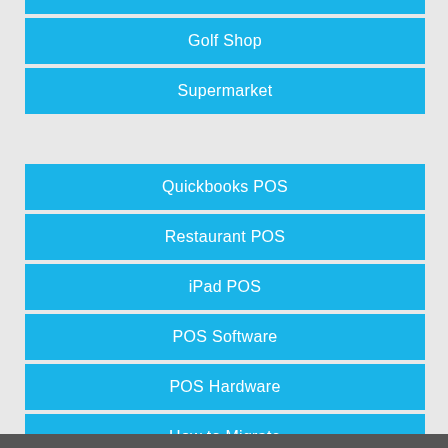Golf Shop
Supermarket
Quickbooks POS
Restaurant POS
iPad POS
POS Software
POS Hardware
How to Migrate
Inventory Management